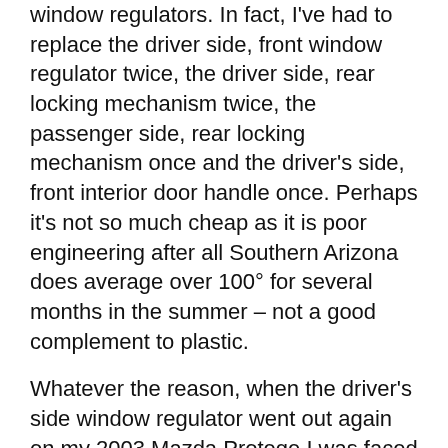window regulators. In fact, I've had to replace the driver side, front window regulator twice, the driver side, rear locking mechanism twice, the passenger side, rear locking mechanism once and the driver's side, front interior door handle once. Perhaps it's not so much cheap as it is poor engineering after all Southern Arizona does average over 100° for several months in the summer – not a good complement to plastic.
Whatever the reason, when the driver's side window regulator went out again on my 2003 Mazda Protege I was faced with a decision:
Take the car to the Mazda Dealer and have them repair the window regulator
Order a new power window regulator and replace it myself
After weighing the costs, I accepted the fact that the...